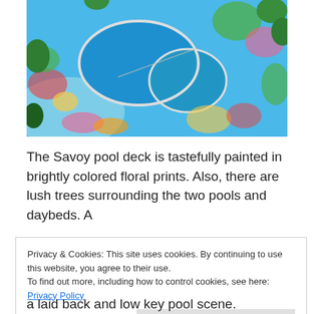[Figure (photo): Aerial view of a resort pool deck with kidney-shaped pools surrounded by brightly colored floral mosaic patterns and lush tropical trees]
The Savoy pool deck is tastefully painted in brightly colored floral prints. Also, there are lush trees surrounding the two pools and daybeds. A
Privacy & Cookies: This site uses cookies. By continuing to use this website, you agree to their use.
To find out more, including how to control cookies, see here: Privacy Policy
a laid back and low key pool scene.